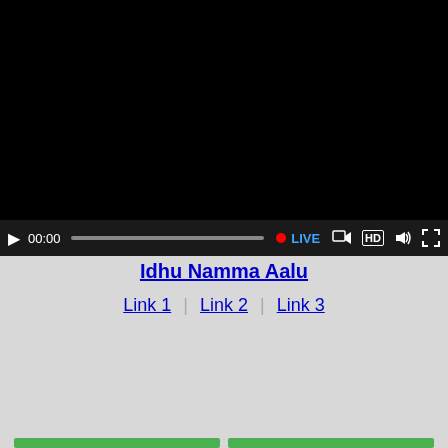[Figure (screenshot): Video player with black screen, controls bar showing play button, 00:00 timestamp, progress bar, red live dot, LIVE text, cast icon, HD label, volume icon, and fullscreen icon]
Idhu Namma Aalu
Link 1 | Link 2 | Link 3
[Figure (screenshot): Video player with gray background and green circular play button in the center]
[Figure (screenshot): Bottom strip with two green buttons partially visible]